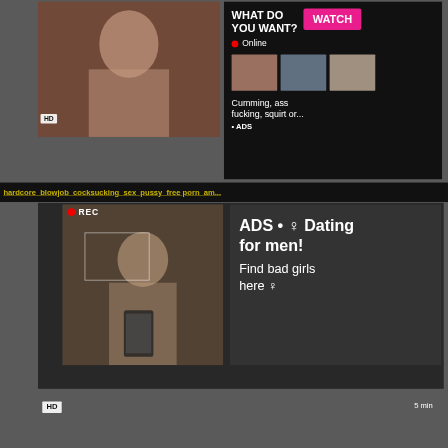[Figure (screenshot): Adult content video thumbnail - woman]
HD
[Figure (screenshot): Ad panel with WHAT DO YOU WANT? WATCH button, Online indicator, thumbnail images, text: Cumming, ass fucking, squirt or... • ADS]
hardcore  blowjob  cocksucking  sex  pussy  free porn  am...
[Figure (screenshot): REC overlay on mirror selfie thumbnail]
ADS • ♀ Dating for men! Find bad girls here ♀
HD
5 min
Big Dick Inspires Teen Hardcore Blowjob